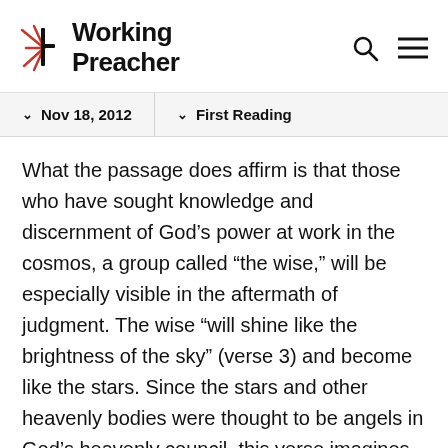[Figure (logo): Working Preacher logo with starburst/spike icon in red and black to the left of the text 'Working Preacher' in bold black, with search and hamburger menu icons on the right]
Nov 18, 2012 | First Reading
What the passage does affirm is that those who have sought knowledge and discernment of God's power at work in the cosmos, a group called “the wise,” will be especially visible in the aftermath of judgment. The wise “will shine like the brightness of the sky” (verse 3) and become like the stars. Since the stars and other heavenly bodies were thought to be angels in God’s heavenly council, this verse imagines the exaltation of the wise to a place of privilege within the divine courts; a place close to the God who had seemed so distant during the